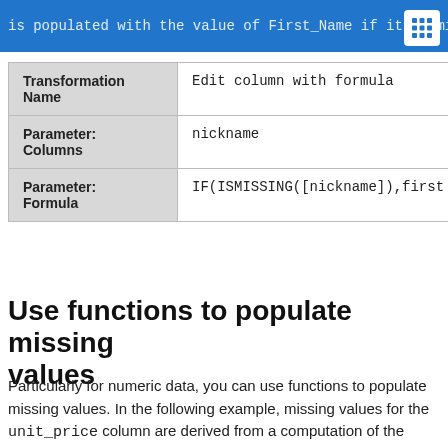is populated with the value of First_Name if it is mis
|  |  |
| --- | --- |
| Transformation Name | Edit column with formula |
| Parameter: Columns | nickname |
| Parameter: Formula | IF(ISMISSING([nickname]),first |
Use functions to populate missing values
Particularly for numeric data, you can use functions to populate missing values. In the following example, missing values for the unit_price column are derived from a computation of the weight_kg column and the price